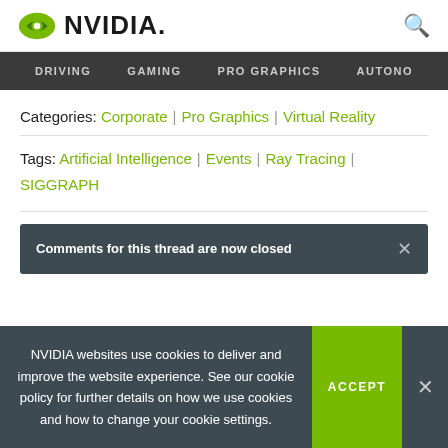NVIDIA
DRIVING | GAMING | PRO GRAPHICS | AUTONO
Categories: Corporate | Pro Graphics | Virtual Reality
Tags: Artificial Intelligence | Events | Ray Tracing | SIGGRAPH
Comments for this thread are now closed
NVIDIA websites use cookies to deliver and improve the website experience. See our cookie policy for further details on how we use cookies and how to change your cookie settings.
ACCEPT